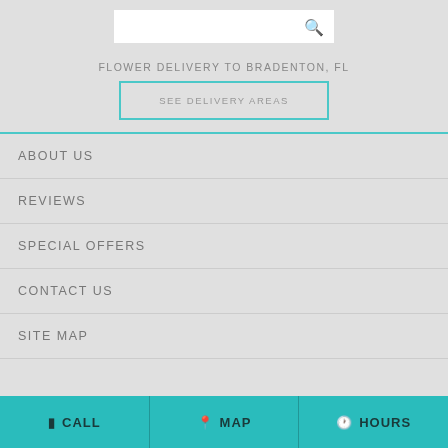[Figure (screenshot): Search bar with magnifying glass icon on white background]
FLOWER DELIVERY TO BRADENTON, FL
SEE DELIVERY AREAS
ABOUT US
REVIEWS
SPECIAL OFFERS
CONTACT US
SITE MAP
CALL   MAP   HOURS